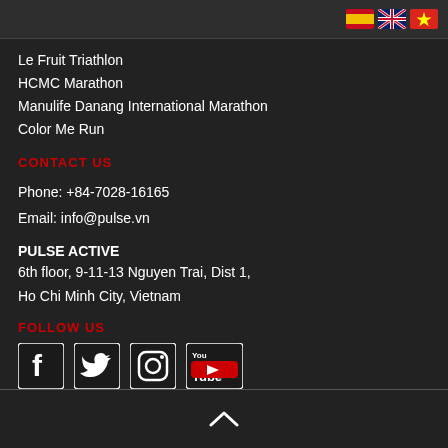[Figure (other): Top bar with Spanish, UK, and Vietnamese flag icons for language selection]
Le Fruit Triathlon
HCMC Marathon
Manulife Danang International Marathon
Color Me Run
CONTACT US
Phone: +84-7028-16165
Email: info@pulse.vn
PULSE ACTIVE
6th floor, 9-11-13 Nguyen Trai, Dist 1, Ho Chi Minh City, Vietnam
FOLLOW US
[Figure (other): Social media icons: Facebook, Twitter, Instagram, YouTube]